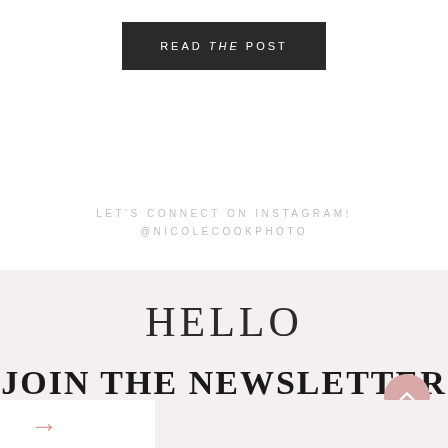READ THE POST
LET'S CONNECT ON INSTAGRAM!
@NICOLECOOKPHOTO
HELLO
JOIN THE NEWSLETTER